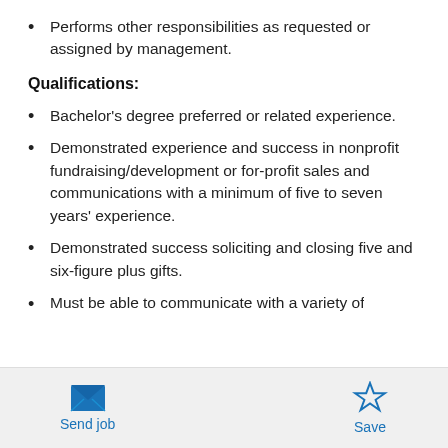Performs other responsibilities as requested or assigned by management.
Qualifications:
Bachelor's degree preferred or related experience.
Demonstrated experience and success in nonprofit fundraising/development or for-profit sales and communications with a minimum of five to seven years' experience.
Demonstrated success soliciting and closing five and six-figure plus gifts.
Must be able to communicate with a variety of
[Figure (infographic): Bottom navigation bar with 'Send job' button (envelope icon) on left and 'Save' button (star icon) on right, both in blue.]